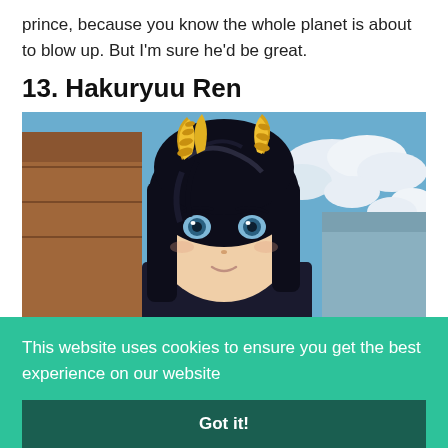prince, because you know the whole planet is about to blow up. But I'm sure he'd be great.
13. Hakuryuu Ren
[Figure (illustration): Anime character screenshot: a dark-haired young person with golden horns, wearing dark clothing, smiling slightly, against a background of a wooden building and blue sky with clouds. From the anime Magi.]
This website uses cookies to ensure you get the best experience on our website
Got it!